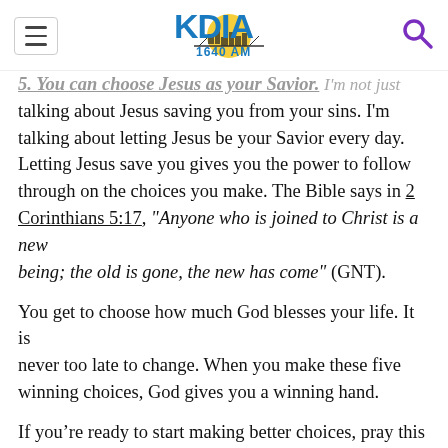KDIA 1640 AM
5. You can choose Jesus as your Savior. I'm not just talking about Jesus saving you from your sins. I'm talking about letting Jesus be your Savior every day. Letting Jesus save you gives you the power to follow through on the choices you make. The Bible says in 2 Corinthians 5:17, "Anyone who is joined to Christ is a new being; the old is gone, the new has come" (GNT).
You get to choose how much God blesses your life. It is never too late to change. When you make these five winning choices, God gives you a winning hand.
If you’re ready to start making better choices, pray this prayer today: “Dear God, there are some things you’ve dealt me and life has dealt me and others have dealt me that I don’t like. But I thank you that you made me in your image and that I can make choices. Today, in your